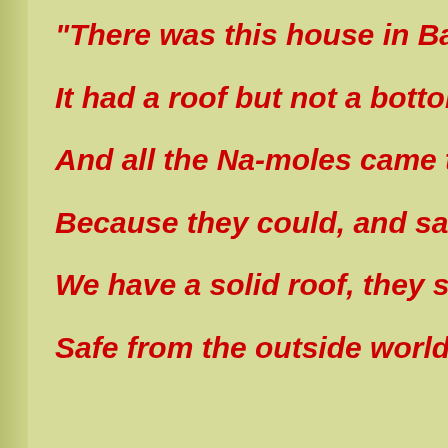"There was this house in Bartlewhatc
It had a roof but not a bottom,
And all the Na-moles came to play,
Because they could, and said “Hurray
We have a solid roof, they spied,
Safe from the outside world...